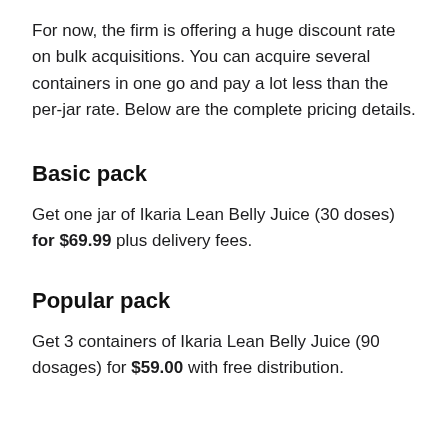For now, the firm is offering a huge discount rate on bulk acquisitions. You can acquire several containers in one go and pay a lot less than the per-jar rate. Below are the complete pricing details.
Basic pack
Get one jar of Ikaria Lean Belly Juice (30 doses) for $69.99 plus delivery fees.
Popular pack
Get 3 containers of Ikaria Lean Belly Juice (90 dosages) for $59.00 with free distribution.